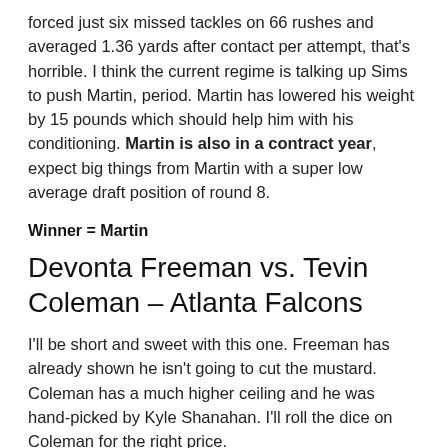forced just six missed tackles on 66 rushes and averaged 1.36 yards after contact per attempt, that's horrible. I think the current regime is talking up Sims to push Martin, period. Martin has lowered his weight by 15 pounds which should help him with his conditioning. Martin is also in a contract year, expect big things from Martin with a super low average draft position of round 8.
Winner = Martin
Devonta Freeman vs. Tevin Coleman – Atlanta Falcons
I'll be short and sweet with this one. Freeman has already shown he isn't going to cut the mustard. Coleman has a much higher ceiling and he was hand-picked by Kyle Shanahan. I'll roll the dice on Coleman for the right price.